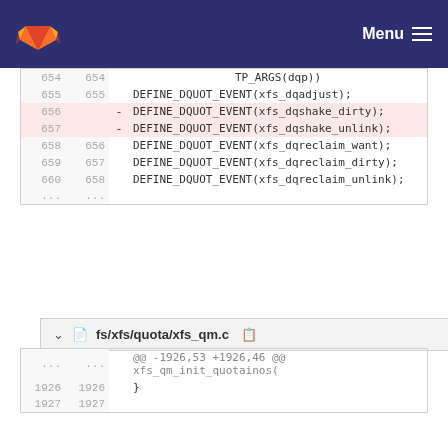GitLab Menu
| old | new | diff | code |
| --- | --- | --- | --- |
| 654 | 654 |  | TP_ARGS(dqp)) |
| 655 | 655 |  | DEFINE_DQUOT_EVENT(xfs_dqadjust); |
| 656 |  | - | DEFINE_DQUOT_EVENT(xfs_dqshake_dirty); |
| 657 |  | - | DEFINE_DQUOT_EVENT(xfs_dqshake_unlink); |
| 658 | 656 |  | DEFINE_DQUOT_EVENT(xfs_dqreclaim_want); |
| 659 | 657 |  | DEFINE_DQUOT_EVENT(xfs_dqreclaim_dirty); |
| 660 | 658 |  | DEFINE_DQUOT_EVENT(xfs_dqreclaim_unlink); |
| ... | ... |  |  |
fs/xfs/quota/xfs_qm.c
| old | new | diff | code |
| --- | --- | --- | --- |
| ... | ... |  | @@ -1926,53 +1926,46 @@ xfs_qm_init_quotainos( |
| 1926 | 1926 |  | } |
| 1927 | 1927 |  |  |